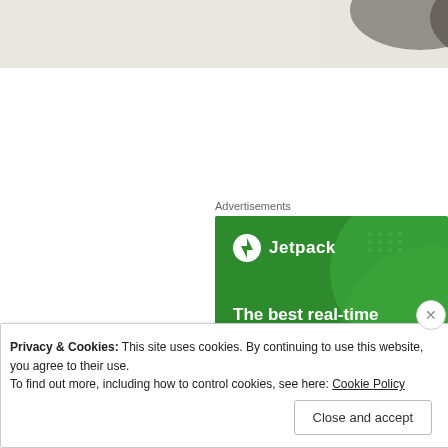[Figure (photo): Partial view of a grey/dark subject (animal/object) on a white/light background, cropped at top of page]
Advertisements
[Figure (screenshot): Jetpack WordPress plugin advertisement on green background. Shows Jetpack logo with lightning bolt icon, headline 'The best real-time WordPress backup plugin', and a white 'Back up your site' button.]
Privacy & Cookies: This site uses cookies. By continuing to use this website, you agree to their use.
To find out more, including how to control cookies, see here: Cookie Policy
Close and accept